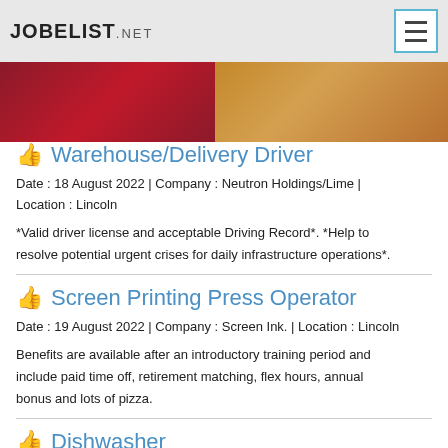JOBELIST.NET
[Figure (photo): Banner image with red/maroon left half and golden-brown right half, partially showing food and a person.]
Warehouse/Delivery Driver
Date : 18 August 2022 | Company : Neutron Holdings/Lime | Location : Lincoln
*Valid driver license and acceptable Driving Record*. *Help to resolve potential urgent crises for daily infrastructure operations*.
Screen Printing Press Operator
Date : 19 August 2022 | Company : Screen Ink. | Location : Lincoln
Benefits are available after an introductory training period and include paid time off, retirement matching, flex hours, annual bonus and lots of pizza.
Dishwasher